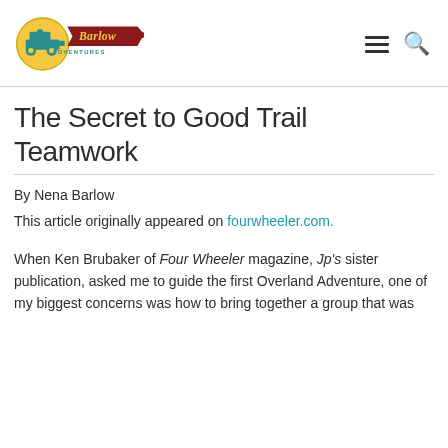[Figure (logo): Barlow Adventures logo: yellow circle with teal jeep illustration, red stylized banner with 'Barlow' in yellow script and 'ADVENTURES' in teal lettering, red wing/chevron shape]
The Secret to Good Trail Teamwork
By Nena Barlow
This article originally appeared on fourwheeler.com.
When Ken Brubaker of Four Wheeler magazine, Jp's sister publication, asked me to guide the first Overland Adventure, one of my biggest concerns was how to bring together a group that was